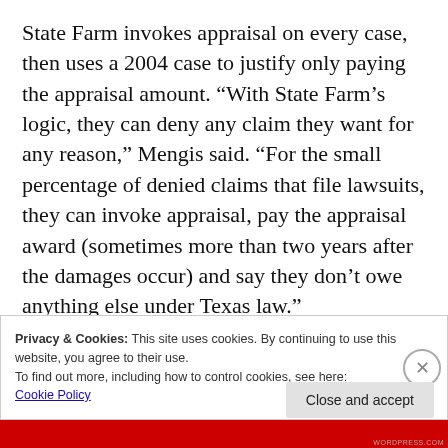State Farm invokes appraisal on every case, then uses a 2004 case to justify only paying the appraisal amount. “With State Farm’s logic, they can deny any claim they want for any reason,” Mengis said. “For the small percentage of denied claims that file lawsuits, they can invoke appraisal, pay the appraisal award (sometimes more than two years after the damages occur) and say they don’t owe anything else under Texas law.”
Privacy & Cookies: This site uses cookies. By continuing to use this website, you agree to their use.
To find out more, including how to control cookies, see here:
Cookie Policy
Close and accept